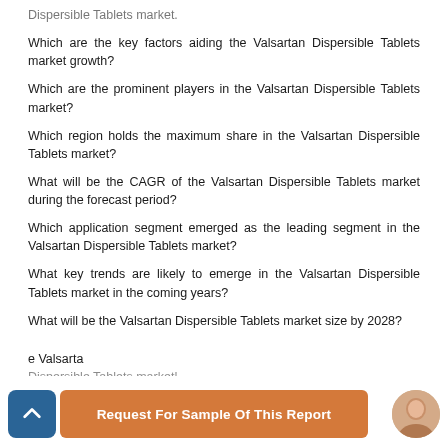Dispersible Tablets market.
Which are the key factors aiding the Valsartan Dispersible Tablets market growth?
Which are the prominent players in the Valsartan Dispersible Tablets market?
Which region holds the maximum share in the Valsartan Dispersible Tablets market?
What will be the CAGR of the Valsartan Dispersible Tablets market during the forecast period?
Which application segment emerged as the leading segment in the Valsartan Dispersible Tablets market?
What key trends are likely to emerge in the Valsartan Dispersible Tablets market in the coming years?
What will be the Valsartan Dispersible Tablets market size by 2028?
Request For Sample Of This Report
e Valsartan Dispersible Tablets market!